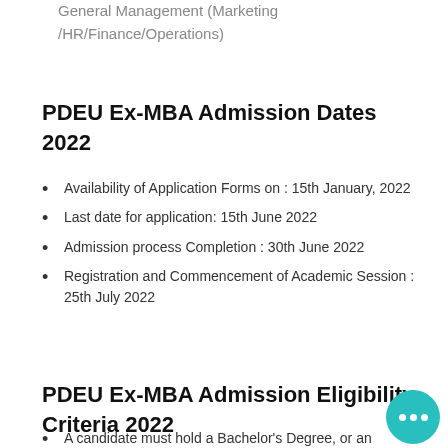General Management (Marketing /HR/Finance/Operations)
PDEU Ex-MBA Admission Dates 2022
Availability of Application Forms on : 15th January, 2022
Last date for application: 15th June 2022
Admission process Completion : 30th June 2022
Registration and Commencement of Academic Session : 25th July 2022
PDEU Ex-MBA Admission Eligibility Criteria 2022
A candidate must hold a Bachelor's Degree, or an